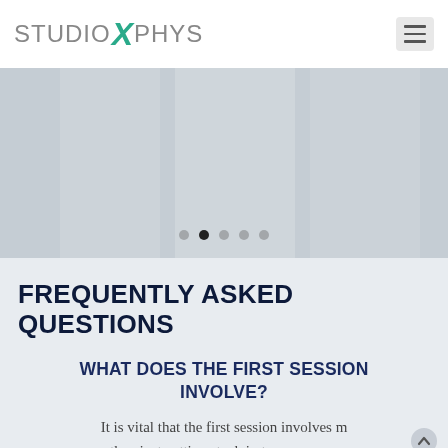STUDIO X PHYS
[Figure (photo): Slider/carousel image area with 5 navigation dots, second dot active]
FREQUENTLY ASKED QUESTIONS
WHAT DOES THE FIRST SESSION INVOLVE?
It is vital that the first session involves m than just getting stuck in to a massage make sure you get the best results. Starting